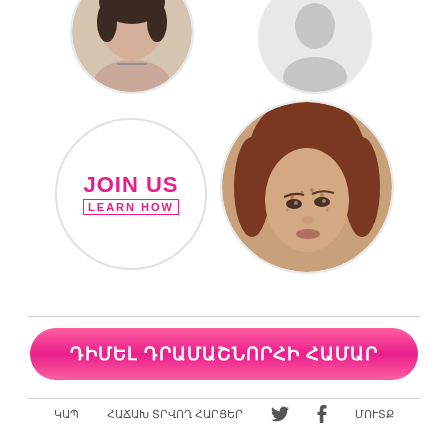[Figure (photo): Circular avatar image of a person, top left, partially cropped]
[Figure (photo): Circular avatar placeholder, top right, light gray]
[Figure (illustration): White circle with JOIN US text and LEARN HOW label in pink]
[Figure (photo): Circular portrait photo of a young woman with freckles and reddish hair]
[Figure (other): Pink gradient rounded rectangle button with Armenian text: ԴԻՄԵԼ ԴՐԱՄԱՇՆՈՐՀԻ ՀԱՄԱՐ]
ԿԱՊ   ՀԱՃԱԽ ՏՐՎՈՂ ՀԱՐՑԵՐ   🐦   f   ՄՈՒՏՔ